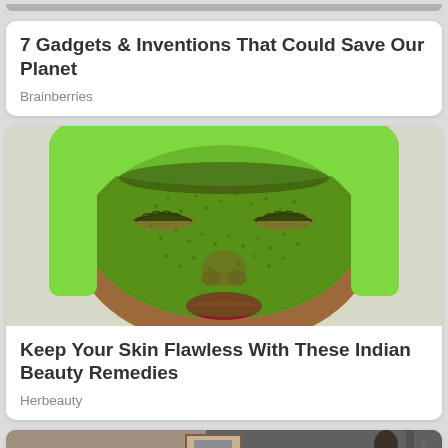7 Gadgets & Inventions That Could Save Our Planet
Brainberries
[Figure (photo): Woman with green herbal face mask and green towel headband, eyes closed]
Keep Your Skin Flawless With These Indian Beauty Remedies
Herbeauty
[Figure (photo): Partial view of a street scene with figures, partially visible at the bottom of the page]